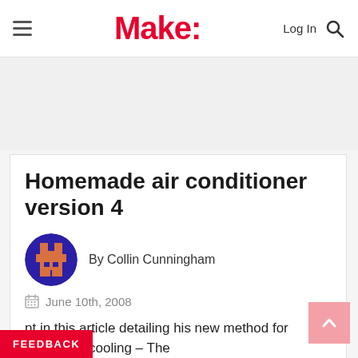Make:
Homemade air conditioner version 4
By Collin Cunningham
June 10th, 2008
nt in this article detailing his new method for affordable cooling – The